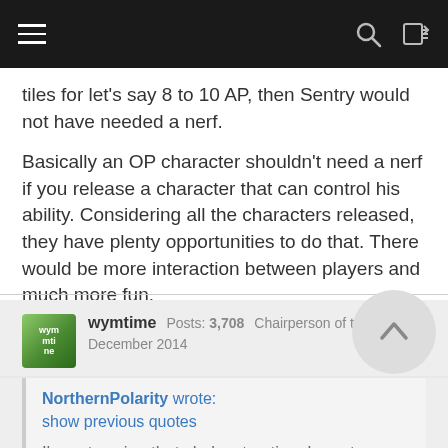Navigation bar with hamburger menu, search icon, and login icon
tiles for let's say 8 to 10 AP, then Sentry would not have needed a nerf.
Basically an OP character shouldn't need a nerf if you release a character that can control his ability. Considering all the characters released, they have plenty opportunities to do that. There would be more interaction between players and much more fun.
wymtime   Posts: 3,708   Chairperson of the Boards
December 2014
NorthernPolarity wrote:
show previous quotes

I'm not saying that she's a top tier character